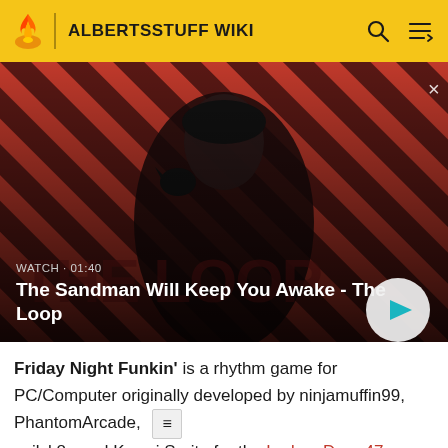ALBERTSSTUFF WIKI
[Figure (screenshot): Video thumbnail showing a dark-cloaked figure with a raven on shoulder against red and black diagonal stripe background. Title card reads 'THE LOOP'. Overlay shows: WATCH • 01:40, title 'The Sandman Will Keep You Awake - The Loop', with a play button.]
WATCH • 01:40
The Sandman Will Keep You Awake - The Loop
Friday Night Funkin' is a rhythm game for PC/Computer originally developed by ninjamuffin99, PhantomArcade, evilsk8r, and Kawai Sprite for the Ludum Dare 47 game jam in October 2020, but was later expanded into a full game. Friday Night Funkin' was played by Albert in the